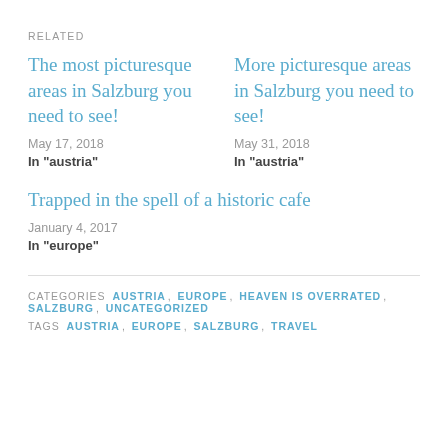RELATED
The most picturesque areas in Salzburg you need to see!
May 17, 2018
In "austria"
More picturesque areas in Salzburg you need to see!
May 31, 2018
In "austria"
Trapped in the spell of a historic cafe
January 4, 2017
In "europe"
CATEGORIES  AUSTRIA, EUROPE, HEAVEN IS OVERRATED, SALZBURG, UNCATEGORIZED
TAGS  AUSTRIA, EUROPE, SALZBURG, TRAVEL